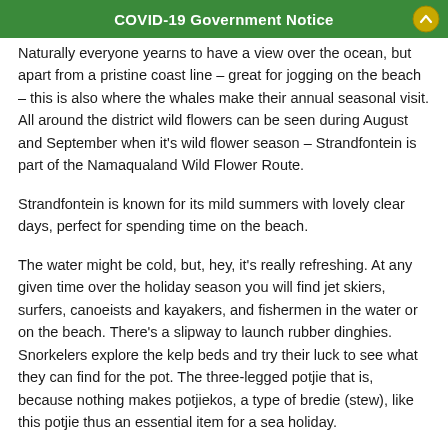COVID-19 Government Notice
Naturally everyone yearns to have a view over the ocean, but apart from a pristine coast line – great for jogging on the beach – this is also where the whales make their annual seasonal visit. All around the district wild flowers can be seen during August and September when it's wild flower season – Strandfontein is part of the Namaqualand Wild Flower Route.
Strandfontein is known for its mild summers with lovely clear days, perfect for spending time on the beach.
The water might be cold, but, hey, it's really refreshing. At any given time over the holiday season you will find jet skiers, surfers, canoeists and kayakers, and fishermen in the water or on the beach. There's a slipway to launch rubber dinghies. Snorkelers explore the kelp beds and try their luck to see what they can find for the pot. The three-legged potjie that is, because nothing makes potjiekos, a type of bredie (stew), like this potjie thus an essential item for a sea holiday.